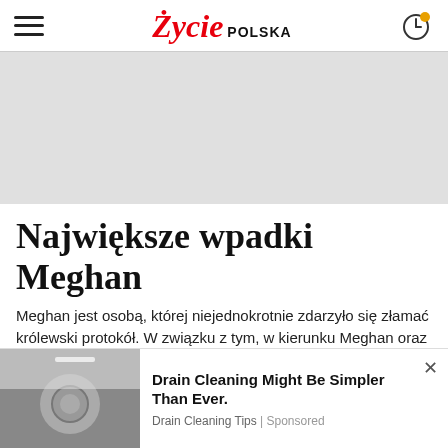Życie POLSKA
[Figure (other): Gray advertisement placeholder area]
Największe wpadki Meghan
Meghan jest osobą, której niejednokrotnie zdarzyło się złamać królewski protokół. W związku z tym, w kierunku Meghan oraz Herrage skierelo wiele słów
[Figure (photo): Advertisement banner showing drain cleaning - image of sink drain with hand, titled 'Drain Cleaning Might Be Simpler Than Ever.' from Drain Cleaning Tips | Sponsored]